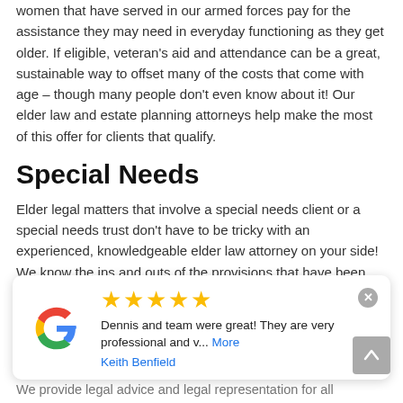women that have served in our armed forces pay for the assistance they may need in everyday functioning as they get older. If eligible, veteran's aid and attendance can be a great, sustainable way to offset many of the costs that come with age – though many people don't even know about it! Our elder law and estate planning attorneys help make the most of this offer for clients that qualify.
Special Needs
Elder legal matters that involve a special needs client or a special needs trust don't have to be tricky with an experienced, knowledgeable elder law attorney on your side! We know the ins and outs of the provisions that have been made for special needs cases here in North Carolina, and we've got the resources to help our clients take full
[Figure (other): Google review widget showing 5 gold stars, review text 'Dennis and team were great! They are very professional and v... More' and reviewer name 'Keith Benfield', with Google G logo on the left and a close (x) button on the top right.]
We provide legal advice and legal representation for all